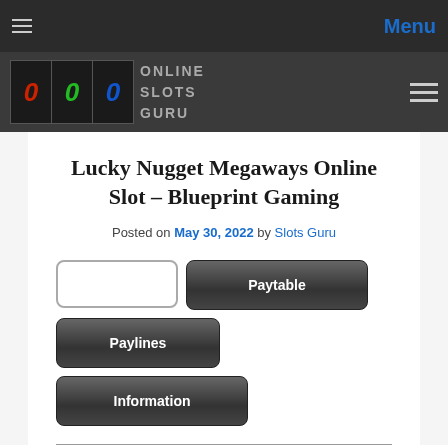Menu
[Figure (logo): Online Slots Guru logo with colored slot symbols and text]
Lucky Nugget Megaways Online Slot – Blueprint Gaming
Posted on May 30, 2022 by Slots Guru
[Figure (screenshot): Game interface buttons: empty box, Paytable, Paylines, Information]